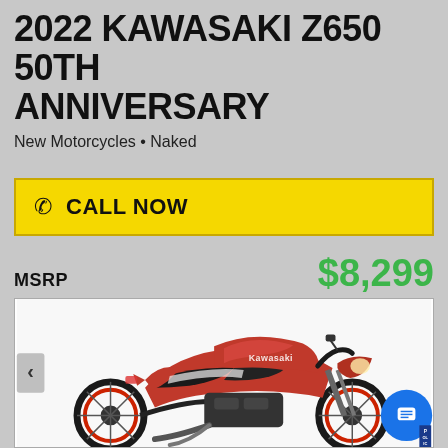2022 KAWASAKI Z650 50TH ANNIVERSARY
New Motorcycles • Naked
CALL NOW
MSRP $8,299
[Figure (photo): Red 2022 Kawasaki Z650 50th Anniversary motorcycle shown in side profile on white background]